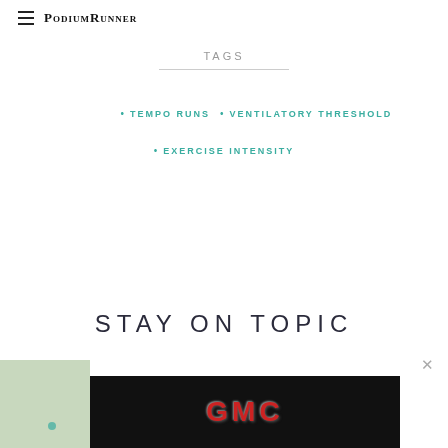PodiumRunner
TAGS
TEMPO RUNS
VENTILATORY THRESHOLD
EXERCISE INTENSITY
STAY ON TOPIC
[Figure (screenshot): GMC advertisement banner at bottom of page]